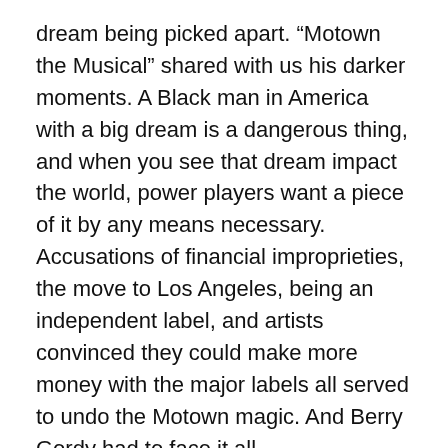dream being picked apart. “Motown the Musical” shared with us his darker moments. A Black man in America with a big dream is a dangerous thing, and when you see that dream impact the world, power players want a piece of it by any means necessary. Accusations of financial improprieties, the move to Los Angeles, being an independent label, and artists convinced they could make more money with the major labels all served to undo the Motown magic. And Berry Gordy had to face it all.
“Motown the Musical” is one of those productions you just have to see and experience and is now playing at the Hollywood Pantages Theatre through June 7. Visit